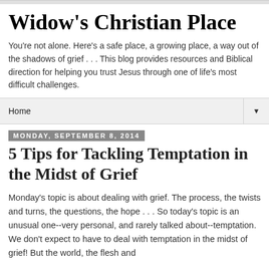Widow's Christian Place
You're not alone. Here's a safe place, a growing place, a way out of the shadows of grief . . . This blog provides resources and Biblical direction for helping you trust Jesus through one of life's most difficult challenges.
Home
Monday, September 8, 2014
5 Tips for Tackling Temptation in the Midst of Grief
Monday's topic is about dealing with grief. The process, the twists and turns, the questions, the hope . . .  So today's topic is an unusual one--very personal, and rarely talked about--temptation. We don't expect to have to deal with temptation in the midst of grief! But the world, the flesh and the devil are not above using our pain . . .